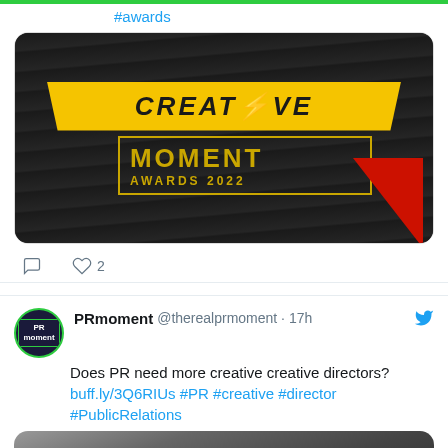#awards
[Figure (photo): Creative Moment Awards 2022 logo on dark background with yellow and gold text and red triangle accent]
2 likes
PRmoment @therealprmoment · 17h
Does PR need more creative creative directors? buff.ly/3Q6RIUs #PR #creative #director #PublicRelations
[Figure (photo): Black and white photo of a person wearing glasses, looking down, in a dark setting]